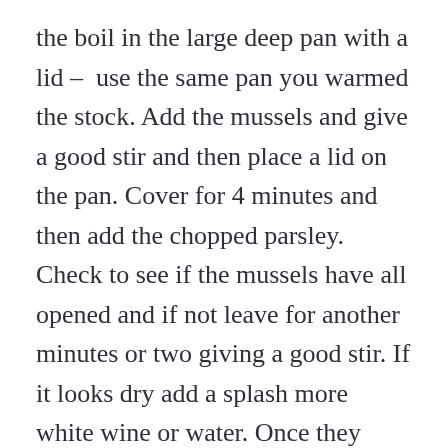the boil in the large deep pan with a lid –  use the same pan you warmed the stock. Add the mussels and give a good stir and then place a lid on the pan. Cover for 4 minutes and then add the chopped parsley. Check to see if the mussels have all opened and if not leave for another minutes or two giving a good stir. If it looks dry add a splash more white wine or water. Once they have all opened, remove from the pan and remove 3/4 of the mussels from the shell and